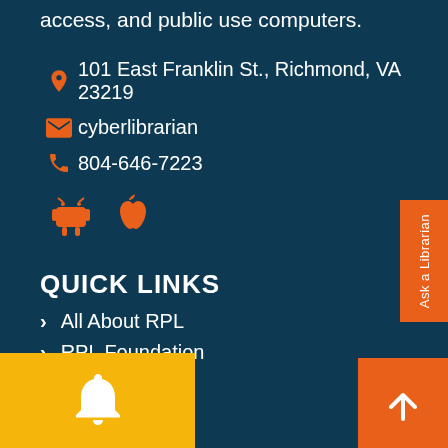access, and public use computers.
101 East Franklin St., Richmond, VA 23219
cyberlibrarian
804-646-7223
[Figure (illustration): Android and Apple app store icons in orange]
QUICK LINKS
All About RPL
RPL Foundation
Library Policy
acy & Terms
nds of RPL
[Figure (illustration): Ask a Librarian orange side tab]
[Figure (illustration): Yellow bell notification button at bottom left]
[Figure (illustration): Orange upward arrow button at bottom right]